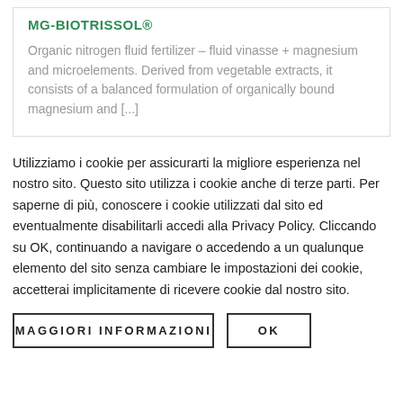MG-BIOTRISSOL®
Organic nitrogen fluid fertilizer – fluid vinasse + magnesium and microelements. Derived from vegetable extracts, it consists of a balanced formulation of organically bound magnesium and [...]
Utilizziamo i cookie per assicurarti la migliore esperienza nel nostro sito. Questo sito utilizza i cookie anche di terze parti. Per saperne di più, conoscere i cookie utilizzati dal sito ed eventualmente disabilitarli accedi alla Privacy Policy. Cliccando su OK, continuando a navigare o accedendo a un qualunque elemento del sito senza cambiare le impostazioni dei cookie, accetterai implicitamente di ricevere cookie dal nostro sito.
MAGGIORI INFORMAZIONI
OK